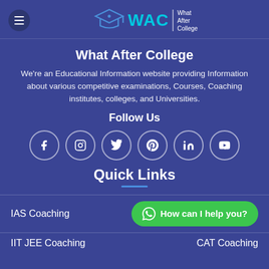[Figure (logo): WAC - What After College logo with graduation cap icon and teal text]
What After College
We're an Educational Information website providing Information about various competitive examinations, Courses, Coaching institutes, colleges, and Universities.
Follow Us
[Figure (infographic): Social media icons: Facebook, Instagram, Twitter, Pinterest, LinkedIn, YouTube - each in a circle]
Quick Links
IAS Coaching
How can I help you?
IIT JEE Coaching
CAT Coaching